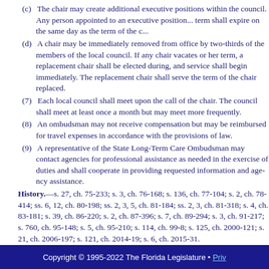(c) The chair may create additional executive positions within the council. Any person appointed to an executive position... term shall expire on the same day as the term of the c...
(d) A chair may be immediately removed from o... two-thirds of the members of the local council. If any... or her term, a replacement chair shall be elected durin... shall begin immediately. The replacement chair shall... replaced.
(7) Each local council shall meet upon the call o... council shall meet at least once a month but may mee...
(8) An ombudsman may not receive compensatio... reimbursed for travel expenses in accordance with the...
(9) A representative of the State Long-Term Care... agencies for professional assistance as needed in the e... cooperate in providing requested information and age...
History.—s. 27, ch. 75-233; s. 3, ch. 76-168; s. 136, ch. 77-1... ss. 6, 12, ch. 80-198; ss. 2, 3, 5, ch. 81-184; ss. 2, 3, ch. 81-318;... 181; s. 39, ch. 86-220; s. 2, ch. 87-396; s. 7, ch. 89-294; s. 3, ch.... 217; s. 760, ch. 95-148; s. 5, ch. 95-210; s. 114, ch. 99-8; s. 125,... 121; s. 21, ch. 2006-197; s. 121, ch. 2014-19; s. 6, ch. 2015-31.
Note.—Former s. 400.307.
Copyright © 1995-2022 The Florida Legislature • Priv...